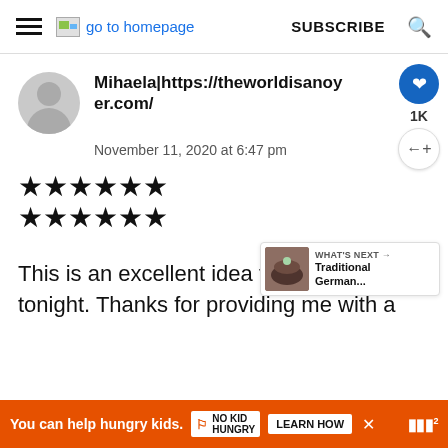go to homepage | SUBSCRIBE
Mihaela|https://theworldisanoyer.com/
November 11, 2020 at 6:47 pm
★★★★★★ ★★★★★★
This is an excellent idea for din... tonight. Thanks for providing me with a
[Figure (screenshot): What's Next promo card showing Traditional German... dish with bowl image]
[Figure (infographic): Ad banner: You can help hungry kids. No Kid Hungry. LEARN HOW]
1K